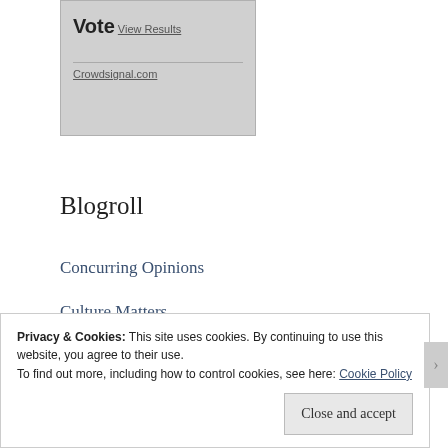[Figure (other): Vote widget with 'View Results' link and Crowdsignal.com branding, shown on a grey background]
Blogroll
Concurring Opinions
Culture Matters
John Adams – Risk in a Hypermobile World
Less Wrong
Matthew Taylor's Blog at the RSA
Privacy & Cookies: This site uses cookies. By continuing to use this website, you agree to their use.
To find out more, including how to control cookies, see here: Cookie Policy
Close and accept